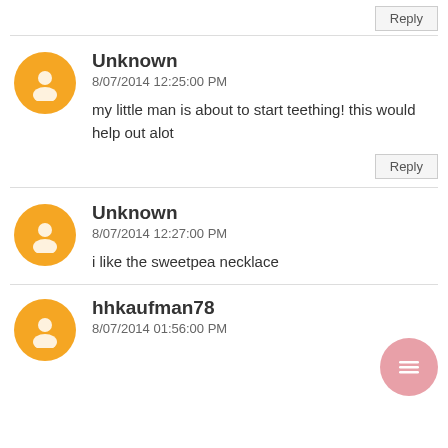Reply
Unknown
8/07/2014 12:25:00 PM
my little man is about to start teething! this would help out alot
Reply
Unknown
8/07/2014 12:27:00 PM
i like the sweetpea necklace
hhkaufman78
8/07/2014 01:56:00 PM